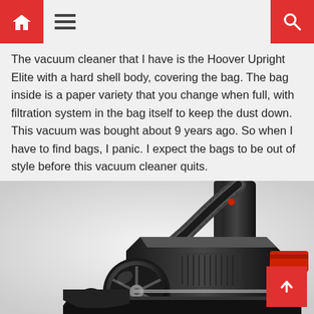[Navigation bar with home icon, hamburger menu, and search icon]
The vacuum cleaner that I have is the Hoover Upright Elite with a hard shell body, covering the bag. The bag inside is a paper variety that you change when full, with filtration system in the bag itself to keep the dust down. This vacuum was bought about 9 years ago. So when I have to find bags, I panic. I expect the bags to be out of style before this vacuum cleaner quits.
[Figure (photo): Close-up photograph of a black Hoover upright vacuum cleaner, showing the lower body, wheels, hose attachment, and base on a white/grey background.]